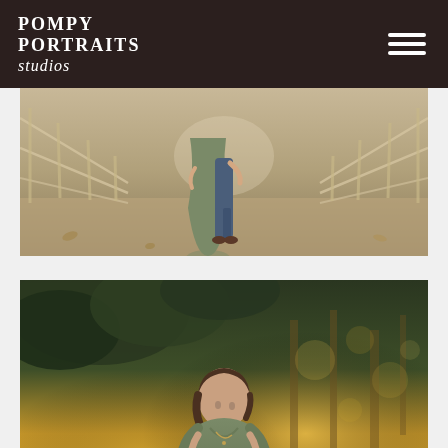POMPY PORTRAITS studios
[Figure (photo): Couple standing on a wooden bridge. Woman in long olive/sage green dress, man in jeans, both touching her pregnant belly. Shot from mid-body down, blurred outdoor background with rustic wooden railing visible on both sides.]
[Figure (photo): Pregnant woman in olive green wrap dress standing outdoors among trees with warm golden bokeh light. She is looking downward with dark hair, surrounded by lush green foliage and warm sunlit pine trees in background.]